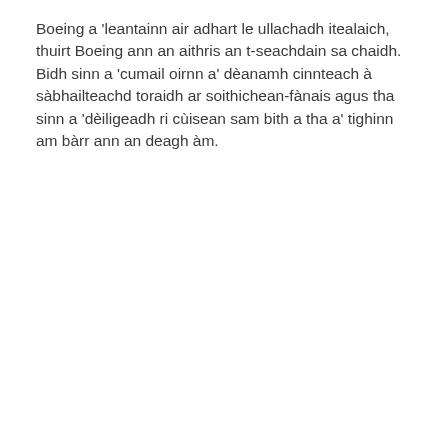Boeing a 'leantainn air adhart le ullachadh itealaich, thuirt Boeing ann an aithris an t-seachdain sa chaidh. Bidh sinn a 'cumail oirnn a' dèanamh cinnteach à sàbhailteachd toraidh ar soithichean-fànais agus tha sinn a 'dèiligeadh ri cùisean sam bith a tha a' tighinn am bàrr ann an deagh àm.
[Figure (other): Ad placeholder icon — rounded rectangle with 'ad' text in grey]